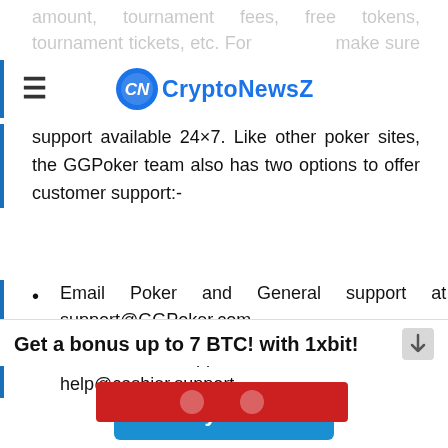CryptoNewsZ
amount, tournament fees, free tokens, tournament tickets, etc. For make sure that they have fully functional and efficient customer support available 24×7. Like other poker sites, the GGPoker team also has two options to offer customer support:-
Email Poker and General support at support@GGPoker.com
Email Cashier support at help@cashier.support.
Get a bonus up to 7 BTC! with 1xbit!
Play Now!